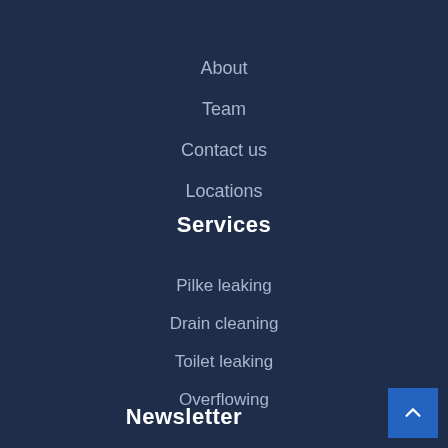About
Team
Contact us
Locations
Services
Pilke leaking
Drain cleaning
Toilet leaking
Overflowing
Newsletter